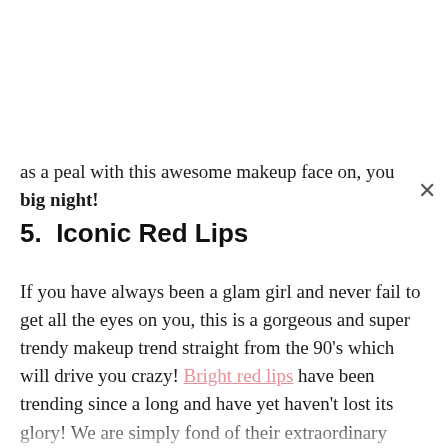as a peal with this awesome makeup face on, you big night!
5. Iconic Red Lips
If you have always been a glam girl and never fail to get all the eyes on you, this is a gorgeous and super trendy makeup trend straight from the 90's which will drive you crazy! Bright red lips have been trending since a long and have yet haven't lost its glory! We are simply fond of their extraordinary makeup look which can work miracles on your prom night makeup! You can complement the red lips with bright bronzer and dark black eyes or can also keep it simple with